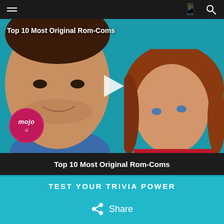[Figure (screenshot): Mobile app top navigation bar with hamburger menu icon on left, Amazon-style logo/icon in center, and search icon on right, on dark background]
[Figure (photo): Video thumbnail showing two people (a young man and woman) against a cyan/teal background with WatchMojo logo circle in bottom left. Title overlay reads 'Top 10 Most Original Rom-Coms' and a play button triangle is centered on the image.]
Top 10 Most Original Rom-Coms
TEST YOUR TRIVIA POWER
Share